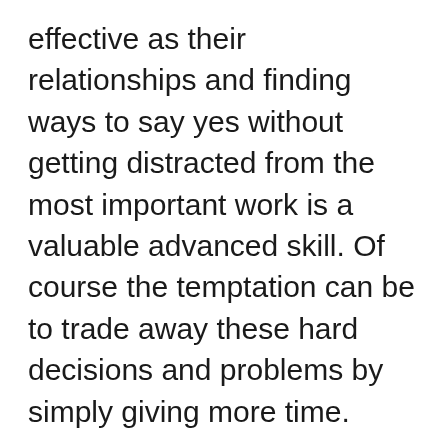effective as their relationships and finding ways to say yes without getting distracted from the most important work is a valuable advanced skill. Of course the temptation can be to trade away these hard decisions and problems by simply giving more time.
Working more hours is the ultimate short term time management power move. It’s also a quick path to burnout. I try to follow a few principles to